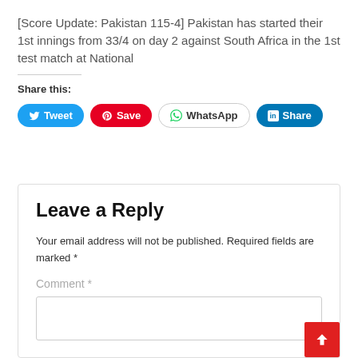[Score Update: Pakistan 115-4] Pakistan has started their 1st innings from 33/4 on day 2 against South Africa in the 1st test match at National
Share this:
[Figure (other): Social share buttons: Tweet (Twitter/blue), Save (Pinterest/red), WhatsApp (white/outlined), Share (LinkedIn/blue)]
Leave a Reply
Your email address will not be published. Required fields are marked *
Comment *